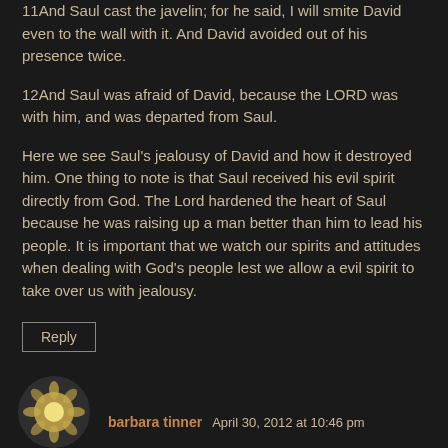11And Saul cast the javelin; for he said, I will smite David even to the wall with it. And David avoided out of his presence twice.
12And Saul was afraid of David, because the LORD was with him, and was departed from Saul.
Here we see Saul's jealousy of David and how it destroyed him. One thing to note is that Saul received his evil spirit directly from God. The Lord hardened the heart of Saul because he was raising up a man better than him to lead his people. It is important that we watch our spirits and attitudes when dealing with God's people lest we allow a evil spirit to take over us with jealousy.
Reply
barbara tinner April 30, 2012 at 10:46 pm